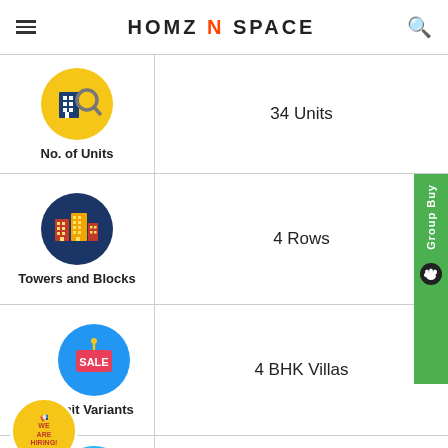HOMZ N SPACE
| Feature | Value |
| --- | --- |
| No. of Units | 34 Units |
| Towers and Blocks | 4 Rows |
| Unit Variants | 4 BHK Villas |
| (Availability/Possession) | Ready to Move-In |